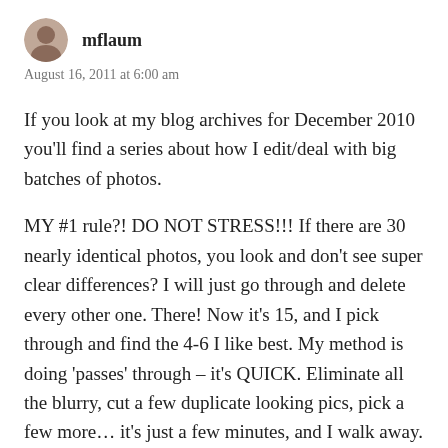mflaum
August 16, 2011 at 6:00 am
If you look at my blog archives for December 2010 you'll find a series about how I edit/deal with big batches of photos.
MY #1 rule?! DO NOT STRESS!!! If there are 30 nearly identical photos, you look and don't see super clear differences? I will just go through and delete every other one. There! Now it's 15, and I pick through and find the 4-6 I like best. My method is doing 'passes' through – it's QUICK. Eliminate all the blurry, cut a few duplicate looking pics, pick a few more… it's just a few minutes, and I walk away. WORKS